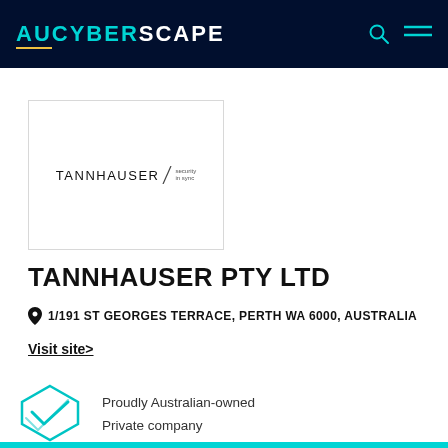AUCYBERSCAPE
[Figure (logo): Tannhauser Security In Sync company logo — text-based logo with 'TANNHAUSER' in uppercase with small 'security in sync' text beside it, enclosed in a light grey bordered box]
TANNHAUSER PTY LTD
1/191 ST GEORGES TERRACE, PERTH WA 6000, AUSTRALIA
Visit site>
[Figure (logo): Diamond/chevron shaped badge icon in teal/cyan color representing Australian-owned badge]
Proudly Australian-owned
Private company